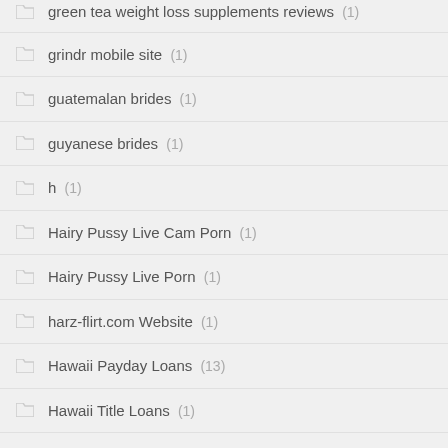green tea weight loss supplements reviews (1)
grindr mobile site (1)
guatemalan brides (1)
guyanese brides (1)
h (1)
Hairy Pussy Live Cam Porn (1)
Hairy Pussy Live Porn (1)
harz-flirt.com Website (1)
Hawaii Payday Loans (13)
Hawaii Title Loans (1)